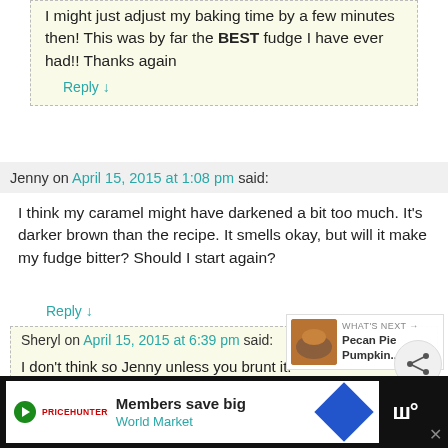I might just adjust my baking time by a few minutes then! This was by far the BEST fudge I have ever had!! Thanks again
Reply ↓
Jenny on April 15, 2015 at 1:08 pm said:
I think my caramel might have darkened a bit too much. It's darker brown than the recipe. It smells okay, but will it make my fudge bitter? Should I start again?
Reply ↓
Sheryl on April 15, 2015 at 6:39 pm said:
I don't think so Jenny unless you brunt it.
Reply ↓
Trish on July 27, 2015 at 4:23 pm said:
[Figure (infographic): What's next widget showing Pecan Pie Pumpkin... with a food photo thumbnail]
[Figure (screenshot): Advertisement bar: Members save big, World Market with logo and diamond icon]